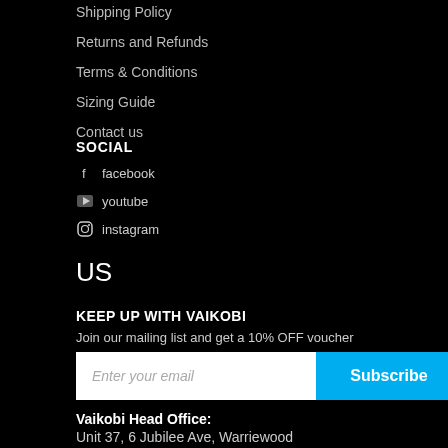Shipping Policy
Returns and Refunds
Terms & Conditions
Sizing Guide
Contact us
SOCIAL
facebook
youtube
instagram
US
KEEP UP WITH VAIKOBI
Join our mailing list and get a 10% OFF voucher
Enter your email
Subscribe
Vaikobi Head Office:
Unit 37, 6 Jubilee Ave, Warriewood